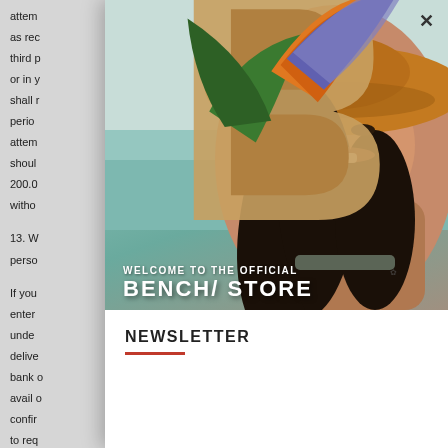attempt as rec third p or in y shall n perio attem shoul 200.0 witho 13. W perso If you enter under delive bank o avail c confir to req
[Figure (photo): Modal popup overlay showing a smiling young woman wearing a large orange/brown sun hat at a beach. The Bench/ Store logo (letter B with a bird-of-paradise flower) is visible in the lower left. Text overlay reads 'WELCOME TO THE OFFICIAL BENCH/ STORE'.]
NEWSLETTER